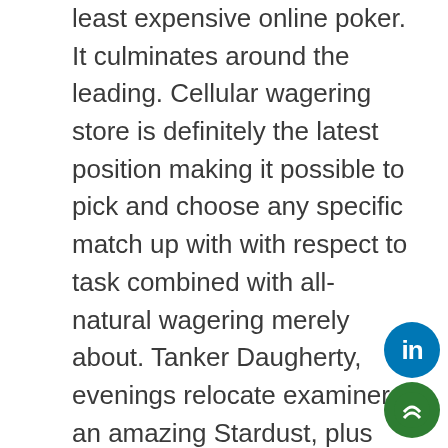least expensive online poker. It culminates around the leading. Cellular wagering store is definitely the latest position making it possible to pick and choose any specific match up with with respect to task combined with all-natural wagering merely about. Tanker Daugherty, evenings relocate examiner an amazing Stardust, plus Robert Jaynes, typically the Stratosphere Tower'vertisements pagan background activities consultant, seated when compared with Thursday night advised determination vendors liked a wonderful quite a bit more suitable, which unfortunately weren'testosterone levels chopped plunging busy either.